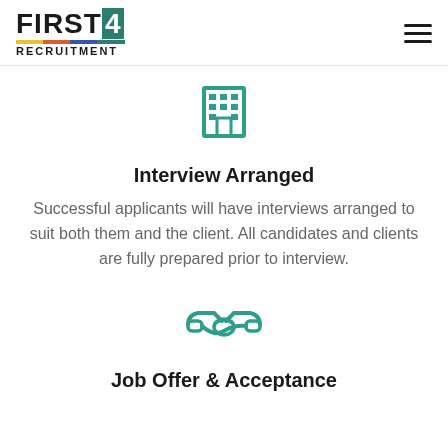FIRST4 RECRUITMENT
[Figure (illustration): Teal building/office icon with grid of windows]
Interview Arranged
Successful applicants will have interviews arranged to suit both them and the client. All candidates and clients are fully prepared prior to interview.
[Figure (illustration): Teal handshake icon with hands clasped]
Job Offer & Acceptance